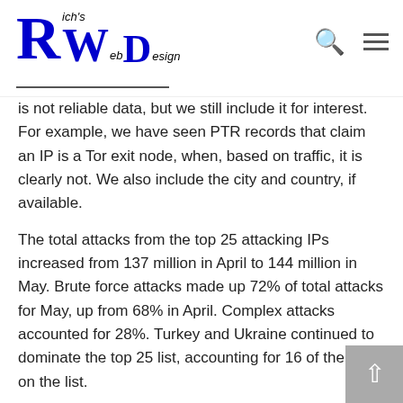Rich's Web Design
is not reliable data, but we still include it for interest. For example, we have seen PTR records that claim an IP is a Tor exit node, when, based on traffic, it is clearly not. We also include the city and country, if available.
The total attacks from the top 25 attacking IPs increased from 137 million in April to 144 million in May. Brute force attacks made up 72% of total attacks for May, up from 68% in April. Complex attacks accounted for 28%. Turkey and Ukraine continued to dominate the top 25 list, accounting for 16 of the IPs on the list.
Popular WordPress Security Myths - Because of its incredible popularity as a platform, WordPress enjoys a sizable, generous community of users that spend their time sharing information, resources and data to help with